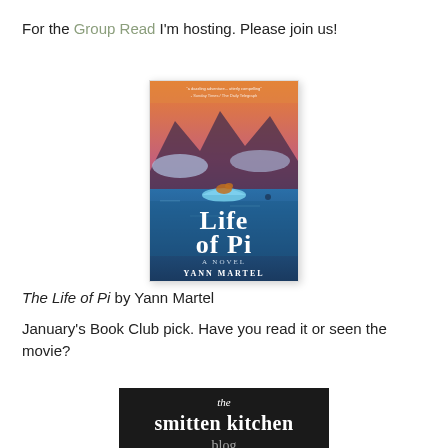For the Group Read I'm hosting. Please join us!
[Figure (illustration): Book cover of 'Life of Pi' by Yann Martel — showing dramatic ocean scene with mountains, clouds, and a small boat with a tiger. Title 'Life of Pi' in large white text, subtitle 'A Novel', author 'Yann Martel' at bottom.]
The Life of Pi by Yann Martel
January's Book Club pick. Have you read it or seen the movie?
[Figure (logo): The Smitten Kitchen blog logo — dark/black background with white italic 'the' above large white 'smitten kitchen' text in an ornate font, with what appears to be additional text below cut off.]